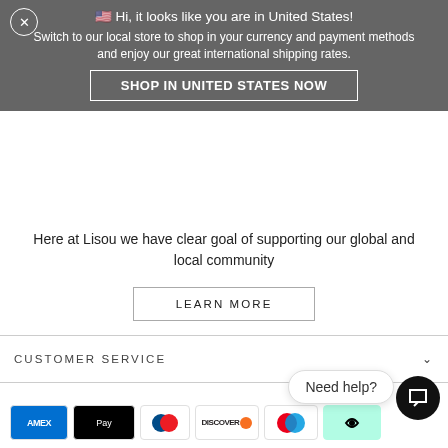🇺🇸 Hi, it looks like you are in United States! Switch to our local store to shop in your currency and payment methods and enjoy our great international shipping rates.
SHOP IN UNITED STATES NOW
Here at Lisou we have clear goal of supporting our global and local community
LEARN MORE
CUSTOMER SERVICE
INFORMATION
SIGN UP & GET 10% OFF
[Figure (other): Payment method icons: American Express, Apple Pay, Diners Club, Discover, Maestro, and an afterpay/reward icon. Also a 'Need help?' chat bubble and chat button.]